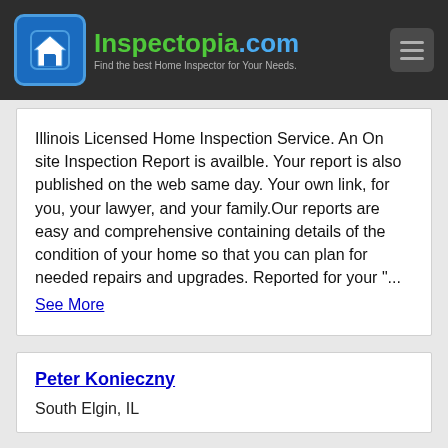Inspectopia.com — Find the best Home Inspector for Your Needs.
Illinois Licensed Home Inspection Service. An On site Inspection Report is availble. Your report is also published on the web same day. Your own link, for you, your lawyer, and your family.Our reports are easy and comprehensive containing details of the condition of your home so that you can plan for needed repairs and upgrades. Reported for your "... See More
Peter Konieczny
South Elgin, IL
I provide a thorough and honest inspection. I work